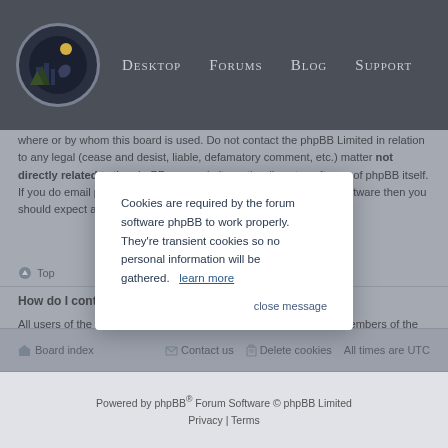Winter Wolves – Desktop | Forums | Blog | Support
where or by whom this board is used. Do not contact the phpBB Limited in relation to any legal (cease and desist, liable, defamatory comment, etc.) matter not directly related to the phpBB.com website or the discrete software of phpBB itself. If you do email phpBB Limited about any third party use of this software then you should expect a terse response or no response at all.
Top
How do I contact a...
All users of the boa... ion was enabled by the board admi... Members of the bo...
Top
[Figure (screenshot): Cookie consent modal dialog with text: Cookies are required by the forum software phpBB to work properly. They're transient cookies so no personal information will be gathered. learn more | close message]
Board index | Contact us | Delete cookies | All times are UTC
Powered by phpBB® Forum Software © phpBB Limited | Privacy | Terms